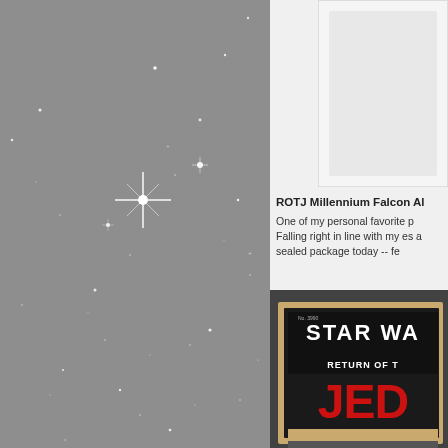[Figure (photo): Star field background — grey sky with scattered white stars and sparkle highlights, occupying the left two-thirds of the page]
[Figure (photo): Small white product box photo partially visible in upper right corner]
ROTJ Millennium Falcon Al
One of my personal favorite p Falling right in line with my es a sealed package today -- fe
[Figure (photo): Photo of a vintage Star Wars Return of the Jedi Millennium Falcon toy in sealed original packaging with Star Wars logo and 'RETURN OF THE JEDI' text visible, item number No. 3990 visible]